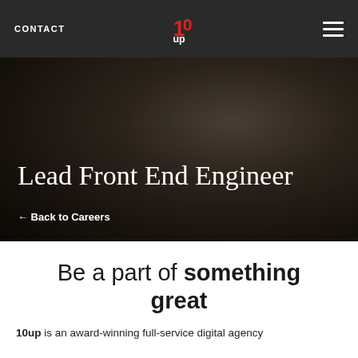CONTACT | 10up logo | hamburger menu
Lead Front End Engineer
← Back to Careers
Be a part of something great
10up is an award-winning full-service digital agency